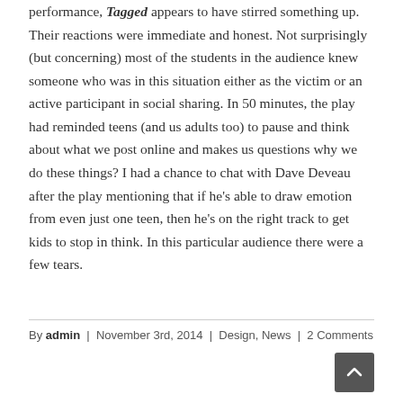performance, Tagged appears to have stirred something up. Their reactions were immediate and honest. Not surprisingly (but concerning) most of the students in the audience knew someone who was in this situation either as the victim or an active participant in social sharing. In 50 minutes, the play had reminded teens (and us adults too) to pause and think about what we post online and makes us questions why we do these things? I had a chance to chat with Dave Deveau after the play mentioning that if he's able to draw emotion from even just one teen, then he's on the right track to get kids to stop in think. In this particular audience there were a few tears.
By admin | November 3rd, 2014 | Design, News | 2 Comments